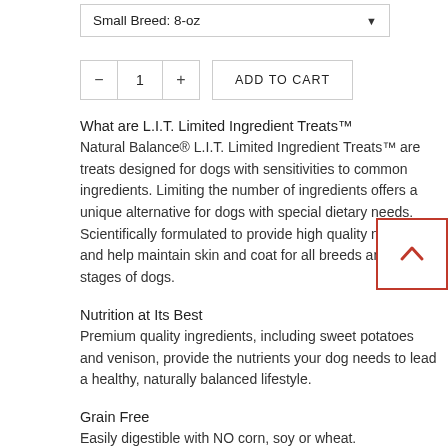Small Breed: 8-oz
1  ADD TO CART
What are L.I.T. Limited Ingredient Treats™
Natural Balance® L.I.T. Limited Ingredient Treats™ are treats designed for dogs with sensitivities to common ingredients. Limiting the number of ingredients offers a unique alternative for dogs with special dietary needs. Scientifically formulated to provide high quality nutrition and help maintain skin and coat for all breeds and life stages of dogs.
Nutrition at Its Best
Premium quality ingredients, including sweet potatoes and venison, provide the nutrients your dog needs to lead a healthy, naturally balanced lifestyle.
Grain Free
Easily digestible with NO corn, soy or wheat.